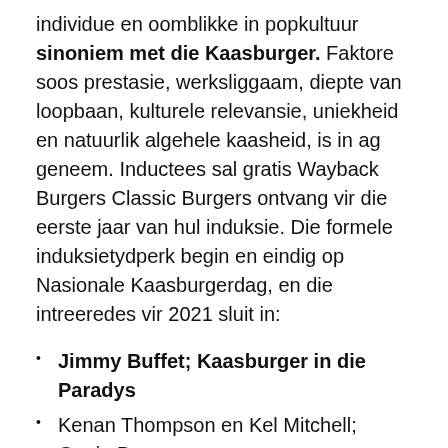individue en oomblikke in popkultuur sinoniem met die Kaasburger. Faktore soos prestasie, werksliggaam, diepte van loopbaan, kulturele relevansie, uniekheid en natuurlik algehele kaasheid, is in ag geneem. Inductees sal gratis Wayback Burgers Classic Burgers ontvang vir die eerste jaar van hul induksie. Die formele induksietydperk begin en eindig op Nasionale Kaasburgerdag, en die intreeredes vir 2021 sluit in:
Jimmy Buffet; Kaasburger in die Paradys
Kenan Thompson en Kel Mitchell; Goeie Burger
Eddie Murphy, Arsenio Hall en